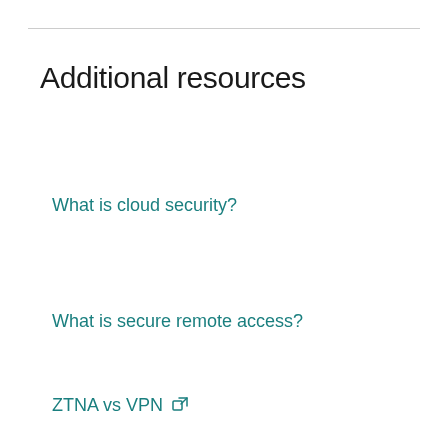Additional resources
What is cloud security?
What is secure remote access?
ZTNA vs VPN